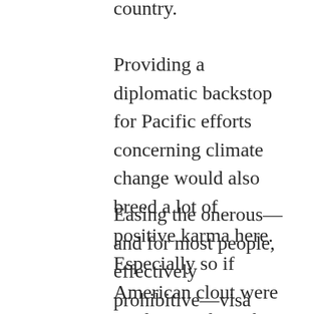country.
Providing a diplomatic backstop for Pacific efforts concerning climate change would also breed a lot of positive karma here. Especially so if American clout were used to gently inch Australia toward a slightly more sane climate posture.
Easing the onerous—and for most people, effectively prohibitive—visa requirements for prospective visitors to the USA could also be easily done, and because there are so few of us, it would have almost zero impact on domestic